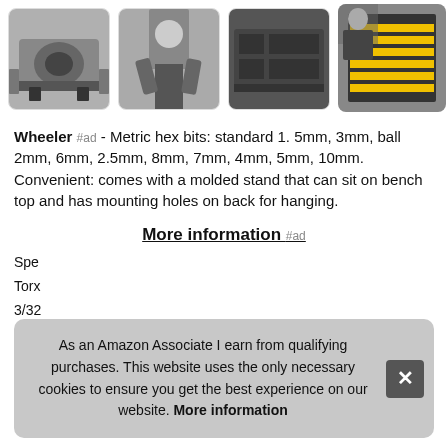[Figure (photo): Four product photos in a row: 1) A custom motorcycle chassis/engine on stands in a workshop. 2) A woman working with tools. 3) A dark machinery/engine close-up. 4) A man working with a yellow and black tool organizer rack.]
Wheeler #ad - Metric hex bits: standard 1. 5mm, 3mm, ball 2mm, 6mm, 2.5mm, 8mm, 7mm, 4mm, 5mm, 10mm. Convenient: comes with a molded stand that can sit on bench top and has mounting holes on back for hanging.
More information #ad
Spe
Torx
3/32
5/16
As an Amazon Associate I earn from qualifying purchases. This website uses the only necessary cookies to ensure you get the best experience on our website. More information